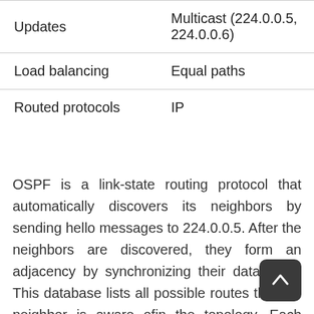|  |  |
| --- | --- |
| Updates | Multicast (224.0.0.5, 224.0.0.6) |
| Load balancing | Equal paths |
| Routed protocols | IP |
OSPF is a link-state routing protocol that automatically discovers its neighbors by sending hello messages to 224.0.0.5. After the neighbors are discovered, they form an adjacency by synchronizing their databases. This database lists all possible routes that the neighbor is aware ofin the topology. Each subnet learned has a